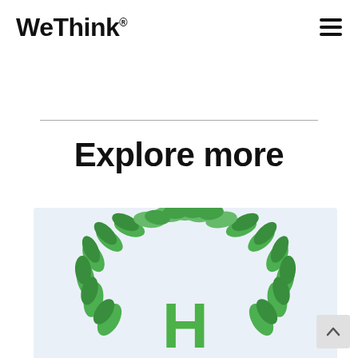WeThink®
Explore more
[Figure (illustration): Green leaf wreath forming an arch around a large green letter H on a light blue-grey background, logo for Herbalife or similar brand]